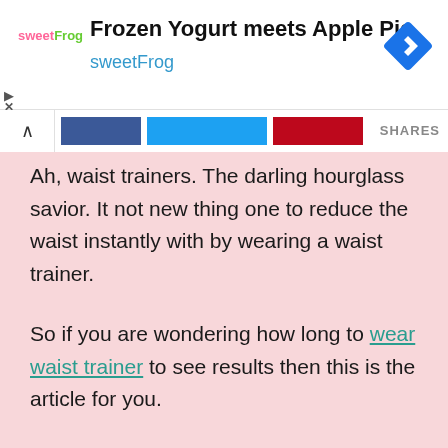[Figure (screenshot): Advertisement banner for sweetFrog frozen yogurt. Shows the sweetFrog logo on the left, title 'Frozen Yogurt meets Apple Pie' in bold, subtitle 'sweetFrog' in teal, and a blue diamond navigation icon on the right.]
[Figure (screenshot): Social sharing bar with a caret/collapse button on the left, three colored share buttons (blue for Facebook, cyan for Twitter, red for Pinterest), and 'SHARES' label on the right.]
Ah, waist trainers. The darling hourglass savior. It not new thing one to reduce the waist instantly with by wearing a waist trainer.
So if you are wondering how long to wear waist trainer to see results then this is the article for you.